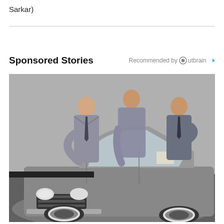Sarkar)
Sponsored Stories
Recommended by Outbrain
[Figure (photo): Vintage color photograph of three men in 1970s business suits standing around a grey/silver classic car (appears to be a Pontiac or similar muscle car from the 70s) in what looks like a showroom or dealership. The man in the center is opening or demonstrating the car door.]